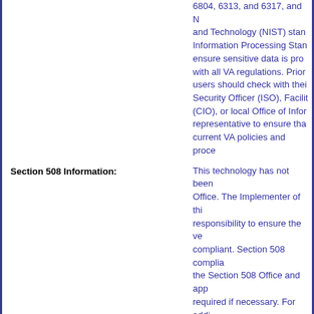6804, 6313, and 6317, and National Institute of Standards and Technology (NIST) standards including Federal Information Processing Standards (FIPS) to ensure sensitive data is properly protected in compliance with all VA regulations. Prior to deploying this technology, users should check with their site's Information Security Officer (ISO), Facility Chief Information Officer (CIO), or local Office of Information and Technology representative to ensure that all actions are in line with current VA policies and procedures.
Section 508 Information:
This technology has not been assessed by the 508 Office. The Implementer of this technology has the responsibility to ensure the version being used is 508 compliant. Section 508 compliance can be assessed by the Section 508 Office and appropriate waivers are required if necessary. For additional information or assistance regarding Section 508, please contact the Section 508 Office at Section508@va.gov.
Decision:
View Decisions
Decision Source:
TRM Mgmt Group
Decision Process:
One-VA TRM v19.6
Decision Date:
06/14/2019
Aliases:
BMC Performance Perceiver f